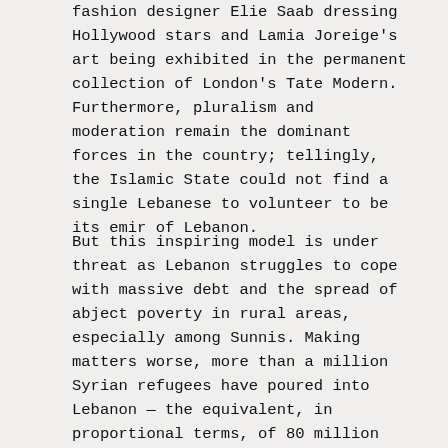fashion designer Elie Saab dressing Hollywood stars and Lamia Joreige's art being exhibited in the permanent collection of London's Tate Modern. Furthermore, pluralism and moderation remain the dominant forces in the country; tellingly, the Islamic State could not find a single Lebanese to volunteer to be its emir of Lebanon.
But this inspiring model is under threat as Lebanon struggles to cope with massive debt and the spread of abject poverty in rural areas, especially among Sunnis. Making matters worse, more than a million Syrian refugees have poured into Lebanon – the equivalent, in proportional terms, of 80 million Mexicans suddenly arriving in the United States. Such a large refugee population can easily transform – and destabilise – a society, especially one as fragmented as Lebanon's.